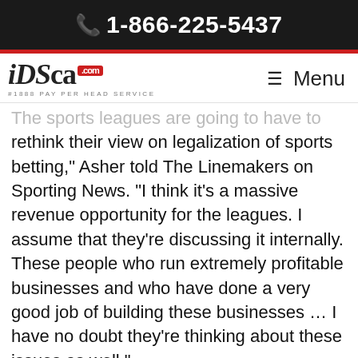📞 1-866-225-5437
[Figure (logo): iDSca.com #1888 Pay Per Head Service logo with hamburger menu icon and 'Menu' text]
The sports leagues are going to have to rethink their view on legalization of sports betting," Asher told The Linemakers on Sporting News. "I think it's a massive revenue opportunity for the leagues. I assume that they're discussing it internally. These people who run extremely profitable businesses and who have done a very good job of building these businesses … I have no doubt they're thinking about these issues as well."